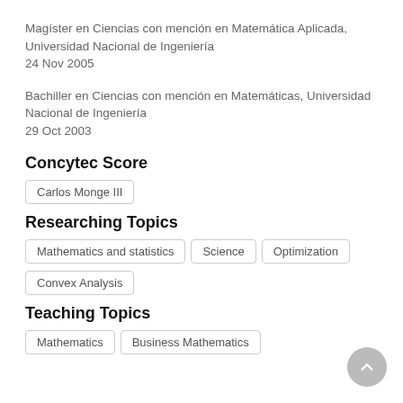Magíster en Ciencias con mención en Matemática Aplicada, Universidad Nacional de Ingeniería
24 Nov 2005
Bachiller en Ciencias con mención en Matemáticas, Universidad Nacional de Ingeniería
29 Oct 2003
Concytec Score
Carlos Monge III
Researching Topics
Mathematics and statistics | Science | Optimization | Convex Analysis
Teaching Topics
Mathematics | Business Mathematics